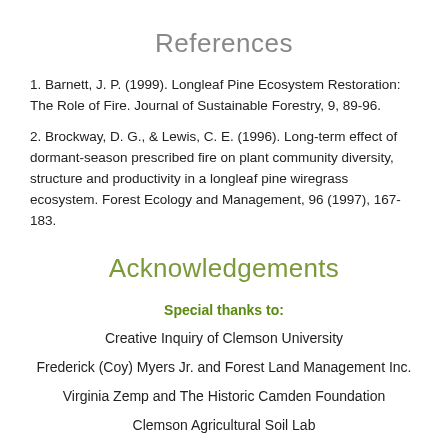References
1. Barnett, J. P. (1999). Longleaf Pine Ecosystem Restoration: The Role of Fire. Journal of Sustainable Forestry, 9, 89-96.
2. Brockway, D. G., & Lewis, C. E. (1996). Long-term effect of dormant-season prescribed fire on plant community diversity, structure and productivity in a longleaf pine wiregrass ecosystem. Forest Ecology and Management, 96 (1997), 167-183.
Acknowledgements
Special thanks to:
Creative Inquiry of Clemson University
Frederick (Coy) Myers Jr. and Forest Land Management Inc.
Virginia Zemp and The Historic Camden Foundation
Clemson Agricultural Soil Lab